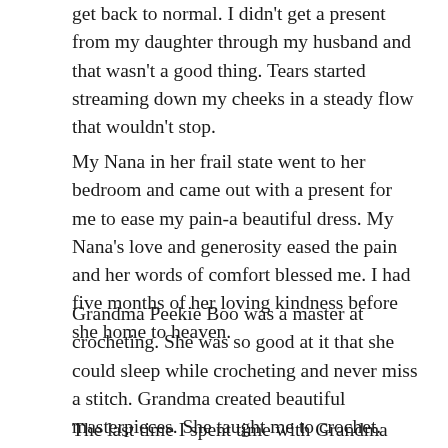get back to normal. I didn't get a present from my daughter through my husband and that wasn't a good thing. Tears started streaming down my cheeks in a steady flow that wouldn't stop.
My Nana in her frail state went to her bedroom and came out with a present for me to ease my pain-a beautiful dress. My Nana's love and generosity eased the pain and her words of comfort blessed me. I had five months of her loving kindness before she home to heaven.
Grandma Peekie Boo was a master at crocheting. She was so good at it that she could sleep while crocheting and never miss a stitch. Grandma created beautiful masterpieces. She taught me to crochet.
The last time I spent time with Grandma Peekie Boo was